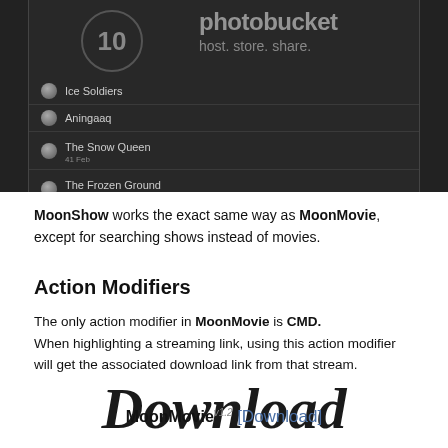[Figure (screenshot): Dark-themed UI screenshot showing a list of movie titles (Ice Soldiers, Aningaaq, The Snow Queen, The Frozen Ground) with a Photobucket 'host. store. share.' overlay on the right side]
MoonShow works the exact same way as MoonMovie, except for searching shows instead of movies.
Action Modifiers
The only action modifier in MoonMovie is CMD.
When highlighting a streaming link, using this action modifier will get the associated download link from that stream.
Download
MoonMovie v1.2 [Download]